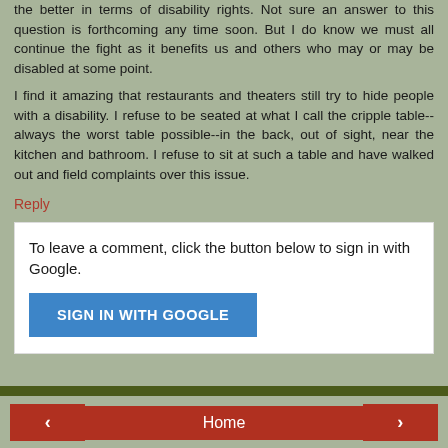the better in terms of disability rights. Not sure an answer to this question is forthcoming any time soon. But I do know we must all continue the fight as it benefits us and others who may or may be disabled at some point.
I find it amazing that restaurants and theaters still try to hide people with a disability. I refuse to be seated at what I call the cripple table--always the worst table possible--in the back, out of sight, near the kitchen and bathroom. I refuse to sit at such a table and have walked out and field complaints over this issue.
Reply
To leave a comment, click the button below to sign in with Google.
SIGN IN WITH GOOGLE
‹   Home   › View web version